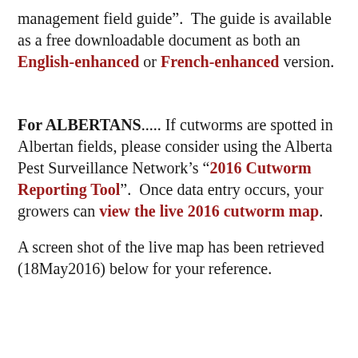management field guide”.  The guide is available as a free downloadable document as both an English-enhanced or French-enhanced version.
For ALBERTANS..... If cutworms are spotted in Albertan fields, please consider using the Alberta Pest Surveillance Network’s “2016 Cutworm Reporting Tool”.  Once data entry occurs, your growers can view the live 2016 cutworm map.
A screen shot of the live map has been retrieved (18May2016) below for your reference.